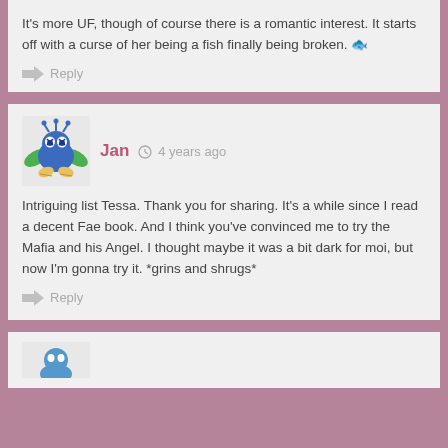It's more UF, though of course there is a romantic interest. It starts off with a curse of her being a fish finally being broken. 🐟
Reply
Jan · 4 years ago
Intriguing list Tessa. Thank you for sharing. It's a while since I read a decent Fae book. And I think you've convinced me to try the Mafia and his Angel. I thought maybe it was a bit dark for moi, but now I'm gonna try it. *grins and shrugs*
Reply